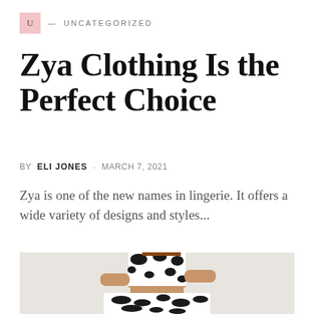U — UNCATEGORIZED
Zya Clothing Is the Perfect Choice
BY ELI JONES · MARCH 7, 2021
Zya is one of the new names in lingerie. It offers a wide variety of designs and styles...
[Figure (photo): Woman wearing a black and white cow-print two-piece outfit consisting of a crop top and wide-leg pants, photographed from the waist up against a light background.]